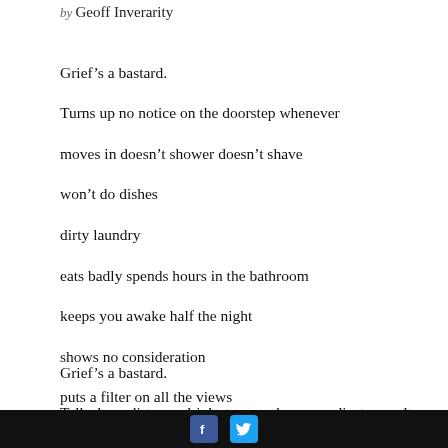by Geoff Inverarity
Grief's a bastard.
Turns up no notice on the doorstep whenever
moves in doesn't shower doesn't shave
won't do dishes
dirty laundry
eats badly spends hours in the bathroom
keeps you awake half the night
shows no consideration
puts a filter on all the views
no matter how sunny it gets
the place still looks like shit.
Grief's a bastard.
Talks long distance drinks too much overmedicates can't finish
[Facebook] [Twitter]